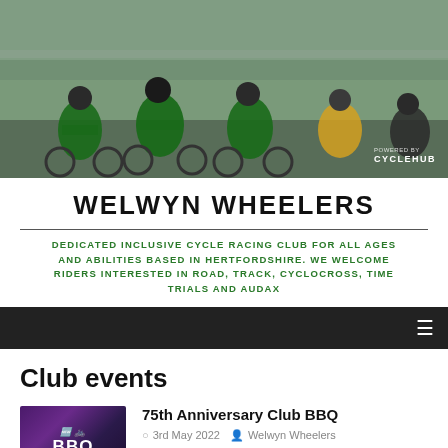[Figure (photo): Cyclists racing in green and white jerseys at a velodrome or road race, with CYCLEHUB watermark in the bottom right]
WELWYN WHEELERS
DEDICATED INCLUSIVE CYCLE RACING CLUB FOR ALL AGES AND ABILITIES BASED IN HERTFORDSHIRE. WE WELCOME RIDERS INTERESTED IN ROAD, TRACK, CYCLOCROSS, TIME TRIALS AND AUDAX
Club events
[Figure (photo): BBQ event promotional image with pink cycling logo and text 'BBQ' in white on dark purple background, with date 'Sunday 22nd May']
75th Anniversary Club BBQ
3rd May 2022  Welwyn Wheelers